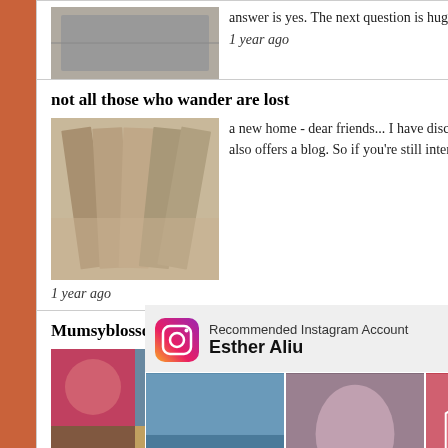answer is yes. The next question is huge. If ...
1 year ago
not all those who wander are lost
[Figure (photo): Old folded/stacked book pages photo thumbnail]
a new home - dear friends... I have discovered that Teachable (the platform that hosts my school) now also offers a blog. So if you're still interested in the occa...
1 year ago
Mumsyblossom's World
[Figure (photo): Collage of books and craft items photo thumbnail]
Happy Christmas to me🎄 - I bought these secondhand books online. Really pleased to add them to my library. I'm looking
wor...
1 ye...
Stit... Wo...
[Figure (infographic): Instagram recommended account popup for Esther Aliu with Follow button and photo grid]
Recommended Instagram Account
Esther Aliu
X CLOSE